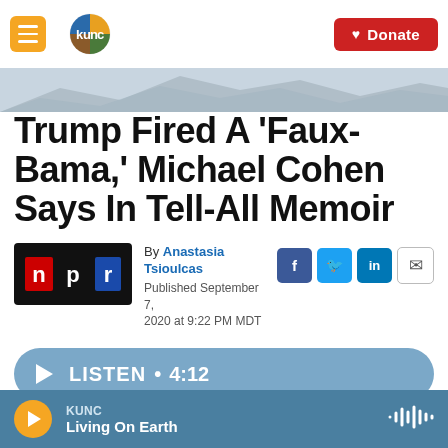KUNC | Donate
Trump Fired A 'Faux-Bama,' Michael Cohen Says In Tell-All Memoir
By Anastasia Tsioulcas
Published September 7, 2020 at 9:22 PM MDT
LISTEN • 4:12
KUNC
Living On Earth